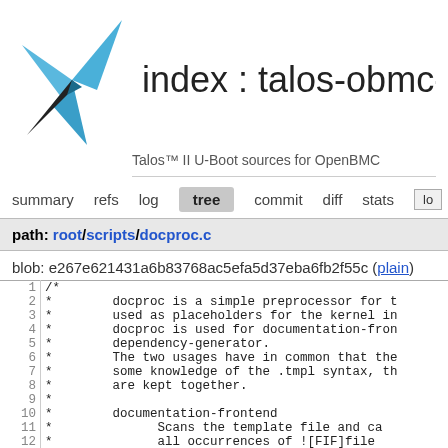[Figure (logo): Talos windmill/fan blade logo in blue and black]
index : talos-obmc-u
Talos™ II U-Boot sources for OpenBMC
summary  refs  log  tree  commit  diff  stats  lo
path: root/scripts/docproc.c
blob: e267e621431a6b83768ac5efa5d37eba6fb2f55c (plain)
| line | code |
| --- | --- |
| 1 | /* |
| 2 |  *        docproc is a simple preprocessor for t |
| 3 |  *        used as placeholders for the kernel in |
| 4 |  *        docproc is used for documentation-fron |
| 5 |  *        dependency-generator. |
| 6 |  *        The two usages have in common that the |
| 7 |  *        some knowledge of the .tmpl syntax, th |
| 8 |  *        are kept together. |
| 9 |  * |
| 10 |  *        documentation-frontend |
| 11 |  *              Scans the template file and ca |
| 12 |  *              all occurrences of ![FIF]file |